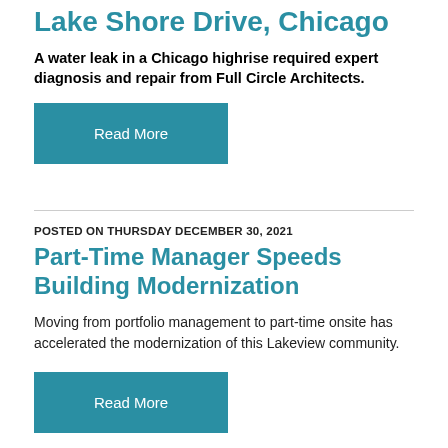Lake Shore Drive, Chicago
A water leak in a Chicago highrise required expert diagnosis and repair from Full Circle Architects.
Read More
POSTED ON THURSDAY DECEMBER 30, 2021
Part-Time Manager Speeds Building Modernization
Moving from portfolio management to part-time onsite has accelerated the modernization of this Lakeview community.
Read More